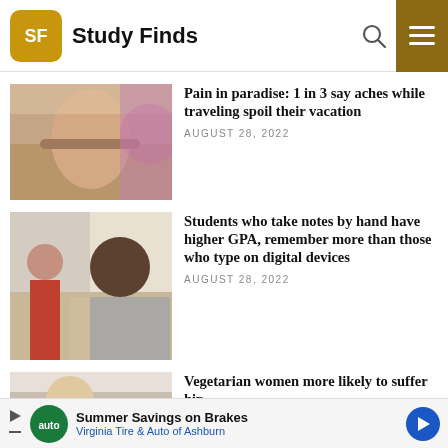Study Finds
[Figure (photo): Person holding their lower back in pain outdoors with purple flowers in background]
Pain in paradise: 1 in 3 say aches while traveling spoil their vacation
AUGUST 28, 2022
[Figure (photo): Students taking notes by hand in a classroom, one young Black male student writing in foreground]
Students who take notes by hand have higher GPA, remember more than those who type on digital devices
AUGUST 28, 2022
[Figure (photo): Older blond woman sitting on couch indoors]
Vegetarian women more likely to suffer hip
Summer Savings on Brakes Virginia Tire & Auto of Ashburn